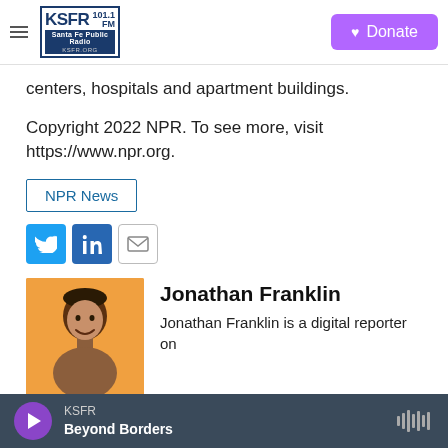KSFR 101.1 FM Santa Fe Public Radio | Donate
centers, hospitals and apartment buildings.
Copyright 2022 NPR. To see more, visit https://www.npr.org.
NPR News
[Figure (other): Social sharing icons: Twitter, LinkedIn, Email]
[Figure (photo): Headshot photo of Jonathan Franklin against orange background]
Jonathan Franklin
Jonathan Franklin is a digital reporter on
KSFR | Beyond Borders